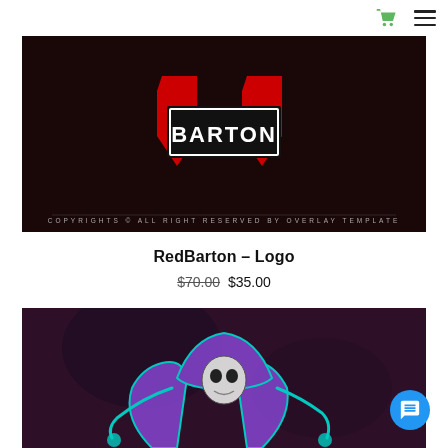Cart and Menu icons
[Figure (logo): RedBarton gaming logo on dark background with red and white design, copyright watermark at bottom]
RedBarton – Logo
$70.00 $35.00
[Figure (illustration): Grim reaper esports mascot logo with teal outline and purple robe on dark purple background]